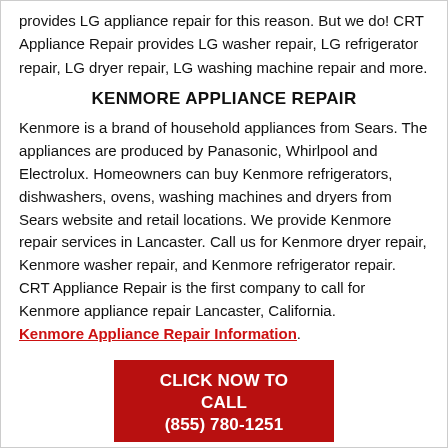provides LG appliance repair for this reason. But we do! CRT Appliance Repair provides LG washer repair, LG refrigerator repair, LG dryer repair, LG washing machine repair and more.
KENMORE APPLIANCE REPAIR
Kenmore is a brand of household appliances from Sears. The appliances are produced by Panasonic, Whirlpool and Electrolux. Homeowners can buy Kenmore refrigerators, dishwashers, ovens, washing machines and dryers from Sears website and retail locations. We provide Kenmore repair services in Lancaster. Call us for Kenmore dryer repair, Kenmore washer repair, and Kenmore refrigerator repair. CRT Appliance Repair is the first company to call for Kenmore appliance repair Lancaster, California. Kenmore Appliance Repair Information.
CLICK NOW TO CALL (855) 780-1251